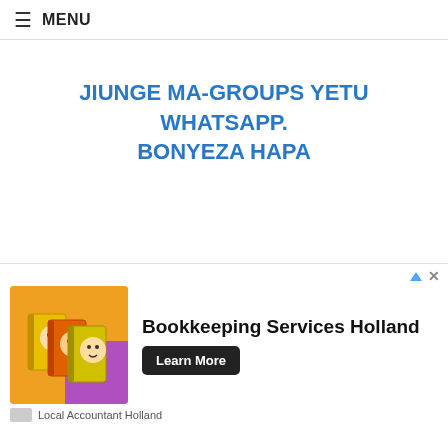≡ MENU
JIUNGE MA-GROUPS YETU WHATSAPP. BONYEZA HAPA
[Figure (other): Dropdown chevron button area at bottom left of page]
[Figure (other): Advertisement banner: Bookkeeping Services Holland — shows stack of books image, 'Learn More' button, Local Accountant Holland]